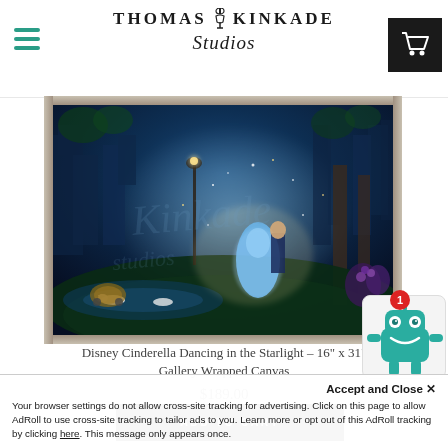[Figure (logo): Thomas Kinkade Studios logo with hamburger menu and cart icon]
[Figure (photo): Disney Cinderella Dancing in the Starlight painting on gallery wrapped canvas — couple dancing in glowing blue/teal magical castle setting]
Disney Cinderella Dancing in the Starlight – 16" x 31" Gallery Wrapped Canvas
$189.00
ADD TO CART
[Figure (illustration): AdRoll robot chatbot widget with red badge showing count 1]
Accept and Close ✕
Your browser settings do not allow cross-site tracking for advertising. Click on this page to allow AdRoll to use cross-site tracking to tailor ads to you. Learn more or opt out of this AdRoll tracking by clicking here. This message only appears once.